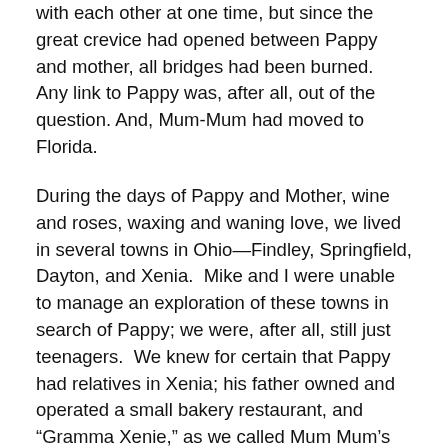with each other at one time, but since the great crevice had opened between Pappy and mother, all bridges had been burned.  Any link to Pappy was, after all, out of the question. And, Mum-Mum had moved to Florida.
During the days of Pappy and Mother, wine and roses, waxing and waning love, we lived in several towns in Ohio—Findley, Springfield, Dayton, and Xenia.  Mike and I were unable to manage an exploration of these towns in search of Pappy; we were, after all, still just teenagers.  We knew for certain that Pappy had relatives in Xenia; his father owned and operated a small bakery restaurant, and “Gramma Xenie,” as we called Mum Mum’s mother, operated a novelty shop there.  I recall little of our lives in many of these smaller hamlets, yet I do remember Xenia.  We lived in an upstairs apartment in a large three-story house.  I remember that I particularly liked the small room